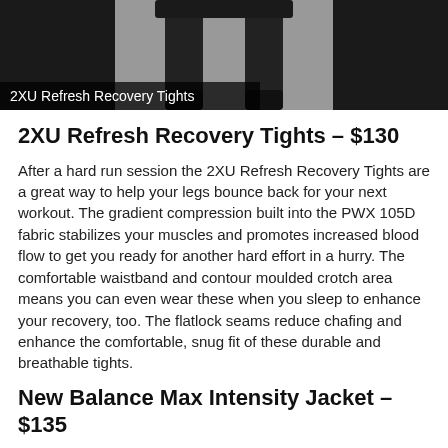[Figure (photo): Product image of 2XU Refresh Recovery Tights showing black compression tights against a grey/dark background with the label '2XU Refresh Recovery Tights' overlaid at the bottom.]
2XU Refresh Recovery Tights – $130
After a hard run session the 2XU Refresh Recovery Tights are a great way to help your legs bounce back for your next workout. The gradient compression built into the PWX 105D fabric stabilizes your muscles and promotes increased blood flow to get you ready for another hard effort in a hurry. The comfortable waistband and contour moulded crotch area means you can even wear these when you sleep to enhance your recovery, too. The flatlock seams reduce chafing and enhance the comfortable, snug fit of these durable and breathable tights.
New Balance Max Intensity Jacket – $135
"It feels like you're putting on paper" was our